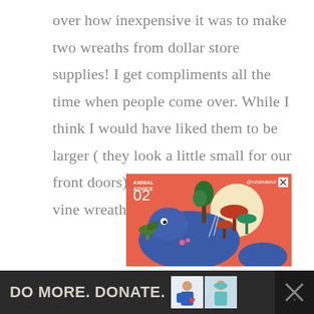over how inexpensive it was to make two wreaths from dollar store supplies! I get compliments all the time when people come over. While I think I would have liked them to be larger ( they look a little small for our front doors) I couldn't find a bigger vine wreath frame at the dollar store.
[Figure (illustration): Colorful illustrated advertisement with coral/red background showing cartoon animals (blue elephant-like creatures) with mushrooms and trees. Text reads 'ANIMAL ADVICE 02' and '@rohandahot' with a close X button.]
[Figure (infographic): Bottom dark banner ad reading 'DO MORE. DONATE.' with two small thumbnail images of people and close buttons on the right.]